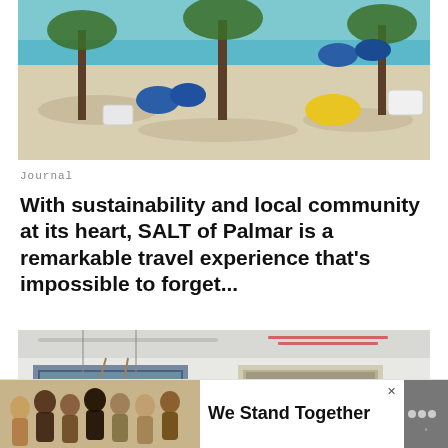[Figure (photo): Beach scene with white sand, trees providing shade, blue bean bag chairs and a yellow bean bag, turquoise ocean in the background]
Journal
With sustainability and local community at its heart, SALT of Palmar is a remarkable travel experience that's impossible to forget...
[Figure (photo): Interior of a modern bar/restaurant with white walls, industrial ceiling, bar stools at a counter, pendant lights, framed artwork on walls, and a bartender]
[Figure (photo): Advertisement banner: group of people standing together with arms around each other, text reads 'We Stand Together' with a logo]